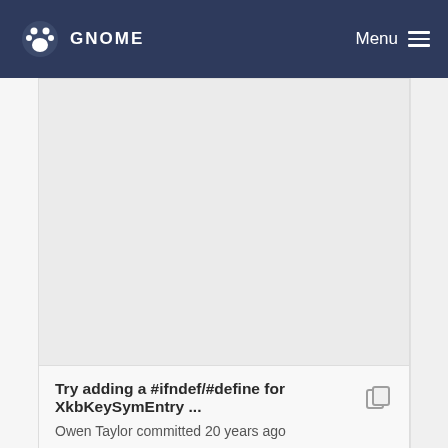GNOME Menu
[Figure (screenshot): Gray empty content block above the commit info]
Try adding a #ifndef/#define for XkbKeySymEntry ... 
Owen Taylor committed 20 years ago